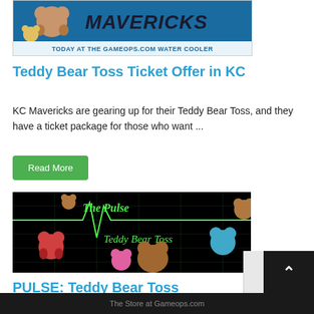[Figure (screenshot): KC Mavericks promotional image with teddy bear mascot and text 'TODAY AT THE GAMEOPS.COM WATER COOLER']
Teddy Bear Toss Ticket Offer in KC
KC Mavericks are gearing up for their Teddy Bear Toss, and they have a ticket package for those who want ...
Read More
[Figure (photo): The Pulse - Teddy Bear Toss promotional image with teddy bears on black background with green EKG/heartbeat line]
PULSE: Teddy Bear Toss
This month we take the Pulse from several hockey t
The Store at Gameops.com